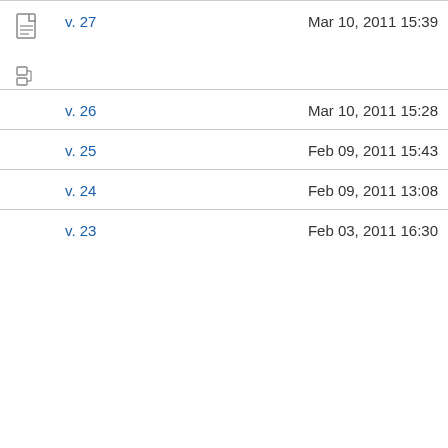v. 27  Mar 10, 2011 15:39
v. 26  Mar 10, 2011 15:28
v. 25  Feb 09, 2011 15:43
v. 24  Feb 09, 2011 13:08
v. 23  Feb 03, 2011 16:30